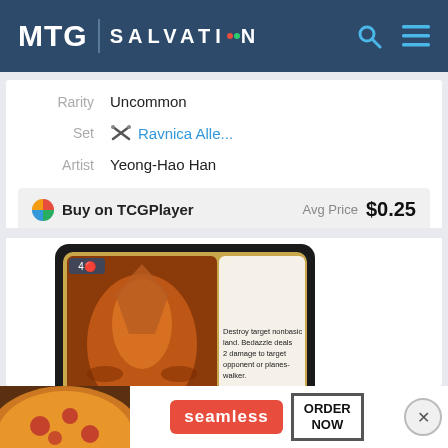MTG SALVATION
| Field | Value |
| --- | --- |
| Rarity | Uncommon |
| Set | Ravnica Alle... |
| Artist | Yeong-Hao Han |
Buy on TCGPlayer   Avg Price  $0.25
[Figure (photo): MTG card Bedazzle shown twice — front face and art detail. Card has red/black border with gold frame, creature art showing a winged demon creature, card text reads Destroy target nonbasic land. Bedazzle deals 2 damage to target opponent or planeswalker. Instant type. Below is a partially visible second card showing a fire/flame art.]
[Figure (photo): Advertisement banner for Seamless food delivery showing pizza image on left, red Seamless pill logo in center, ORDER NOW button on right, and X close button.]